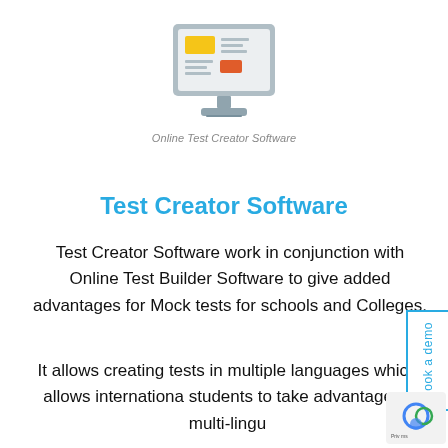[Figure (illustration): Icon of a desktop computer monitor displaying a webpage layout with colored blocks (yellow rectangle top-left, orange/red rectangle middle-right, and horizontal lines suggesting text). The monitor has a gray stand.]
Online Test Creator Software
Test Creator Software
Test Creator Software work in conjunction with Online Test Builder Software to give added advantages for Mock tests for schools and Colleges.
It allows creating tests in multiple languages which allows international students to take advantage of multi-lingu…